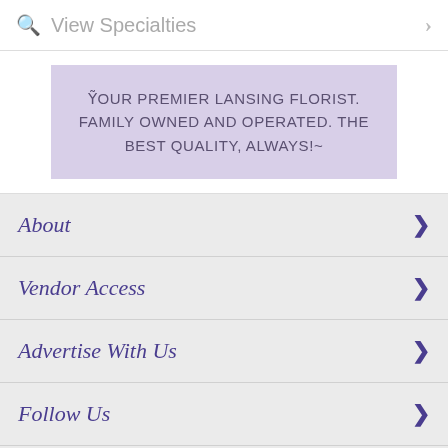View Specialties
YOUR PREMIER LANSING FLORIST. FAMILY OWNED AND OPERATED. THE BEST QUALITY, ALWAYS!~
About
Vendor Access
Advertise With Us
Follow Us
Copyright 2002-2022 by WeddingAndPartyNetwork.com. All Rights Reserved.